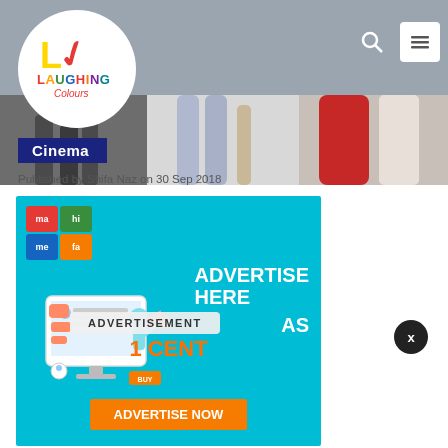[Figure (logo): Laughing Colours logo — circular white badge with stylized Y and check mark, text LAUGHING COLOURS]
[Figure (photo): Header banner strip showing three paparazzi-style photos of people walking, partially cropped]
Cinema
Published by Shifa Naz on 30 Sep 2018
[Figure (infographic): Advertisement banner with cyan/blue background, mahimefa logo grid, monitor illustration with person holding megaphone, text ADVERTISE HERE AS 1 CENT and orange ADVERTISE NOW button]
ADVERTISEMENT
x